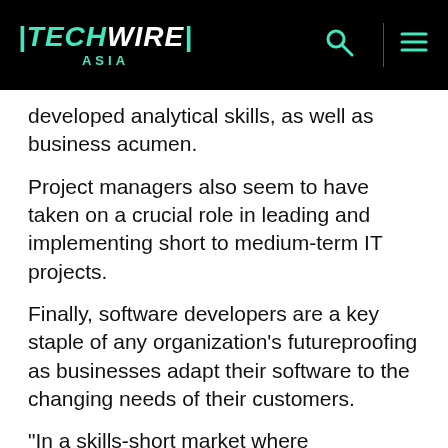TECHWIRE ASIA
developed analytical skills, as well as business acumen.
Project managers also seem to have taken on a crucial role in leading and implementing short to medium-term IT projects.
Finally, software developers are a key staple of any organization’s futureproofing as businesses adapt their software to the changing needs of their customers.
“In a skills-short market where organizations are navigating growth in the digital era, securing skilled candidates is challenging when supply does not